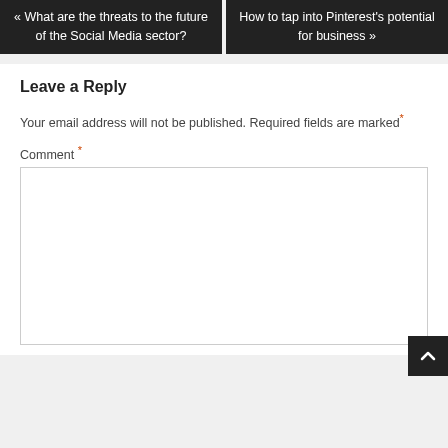« What are the threats to the future of the Social Media sector?
How to tap into Pinterest's potential for business »
Leave a Reply
Your email address will not be published. Required fields are marked *
Comment *